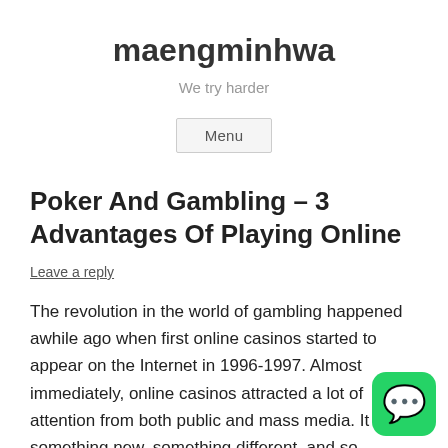maengminhwa
We try harder
Menu
Poker And Gambling – 3 Advantages Of Playing Online
Leave a reply
The revolution in the world of gambling happened awhile ago when first online casinos started to appear on the Internet in 1996-1997. Almost immediately, online casinos attracted a lot of attention from both public and mass media. It was something new, something different, and so tempting to for everybody who had access to the Internet. In the end